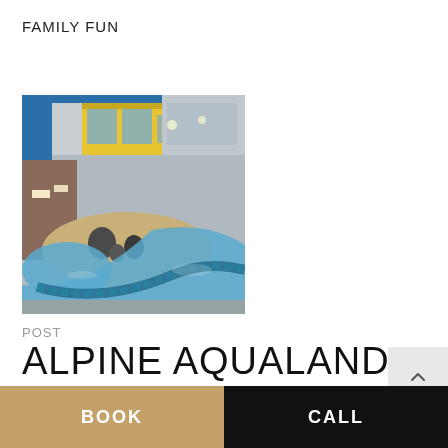FAMILY FUN
[Figure (photo): Indoor aquatic center with a lazy river/pool, sandy area with rocks, blue tiled pool edge, yellow and blue structural elements overhead, large windows in background.]
POST
ALPINE AQUALAND
BOOK
CALL